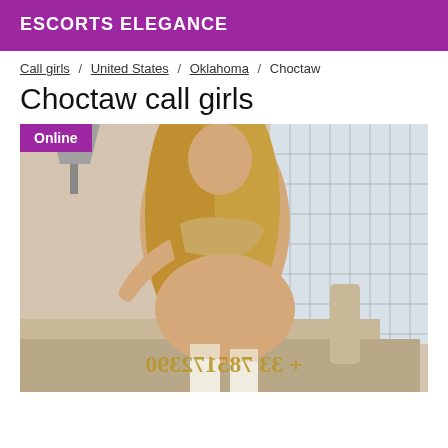ESCORTS ELEGANCE
Call girls / United States / Oklahoma / Choctaw
Choctaw call girls
[Figure (photo): Woman posing in lingerie leaning on a counter, online badge in top left, mirrored phone number watermark at the bottom reading +33 785172390]
Online